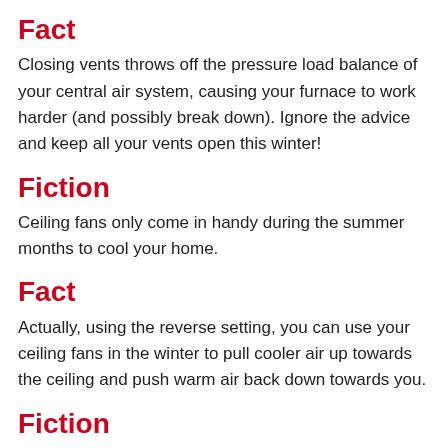Fact
Closing vents throws off the pressure load balance of your central air system, causing your furnace to work harder (and possibly break down). Ignore the advice and keep all your vents open this winter!
Fiction
Ceiling fans only come in handy during the summer months to cool your home.
Fact
Actually, using the reverse setting, you can use your ceiling fans in the winter to pull cooler air up towards the ceiling and push warm air back down towards you.
Fiction